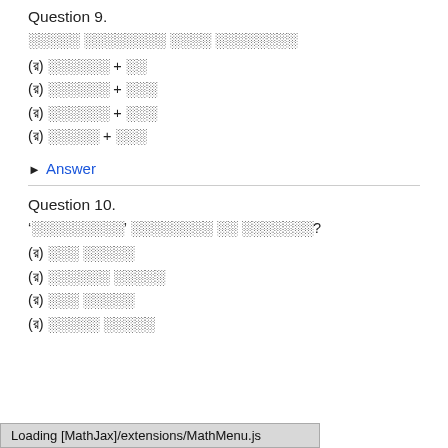Question 9.
░░░░░ ░░░░░░░░ ░░░░ ░░░░░░░░
(ক) ░░░░░░ + ░░
(খ) ░░░░░░ + ░░░
(গ) ░░░░░░ + ░░░
(ঘ) ░░░░░ + ░░░
▶ Answer
Question 10.
'░░░░░░░░░' ░░░░░░░░ ░░ ░░░░░░░?
(ক) ░░░ ░░░░░
(খ) ░░░░░░ ░░░░░
(গ) ░░░ ░░░░░
(ঘ) ░░░░░ ░░░░░
Loading [MathJax]/extensions/MathMenu.js